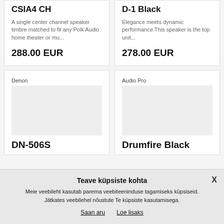CSIA4 CH
A single center channel speaker timbre matched to fit any Polk Audio home theater or mu...
288.00 EUR
D-1 Black
Elegance meets dynamic performance.This speaker is the top unit...
278.00 EUR
Denon
DN-506S
Audio Pro
Drumfire Black
Teave küpsiste kohta
Meie veebileht kasutab parema veebiteeninduse tagamiseks küpsiseid. Jätkates veebilehel nõustute Te küpsiste kasutamisega.
Saan aru
Loe lisaks